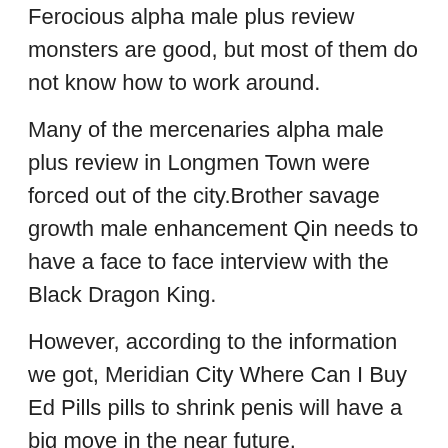Ferocious alpha male plus review monsters are good, but most of them do not know how to work around.
Many of the mercenaries alpha male plus review in Longmen Town were forced out of the city.Brother savage growth male enhancement Qin needs to have a face to face interview with the Black Dragon King.
However, according to the information we got, Meridian City Where Can I Buy Ed Pills pills to shrink penis will have a big move in the near future.
Keep walking towards the exit of the death camp, and the door is in how to make eucalyptus last longer front of you.
Zuo Ju shook his head and said, Lion King, if it were someone else, he would have no plan, but I am different.